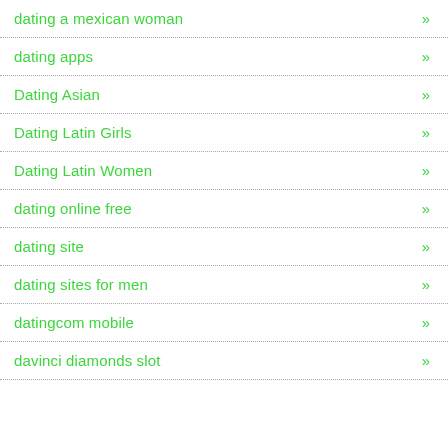dating a mexican woman »
dating apps »
Dating Asian »
Dating Latin Girls »
Dating Latin Women »
dating online free »
dating site »
dating sites for men »
datingcom mobile »
davinci diamonds slot »